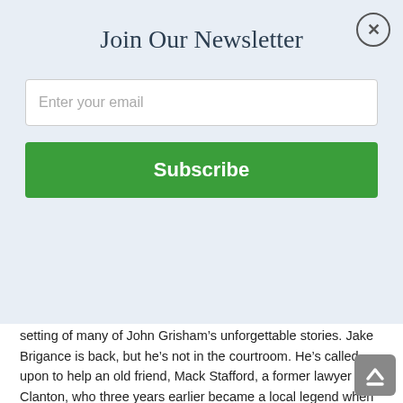Join Our Newsletter
Enter your email
Subscribe
acknowledged master of the legal thriller. In his first collection of novellas, law is a common thread, but America's favorite storyteller has several surprises in store.
“Homecoming” takes us back to Ford County, the fictional setting of many of John Grisham’s unforgettable stories. Jake Brigance is back, but he’s not in the courtroom. He’s called upon to help an old friend, Mack Stafford, a former lawyer in Clanton, who three years earlier became a local legend when he stole money from his clients, divorced his wife, filed for bankruptcy, and left his family in the middle of the night, never to be heard from again—until now. Now Mack is back, and he’s leaning on his old pals, Jake and Harry